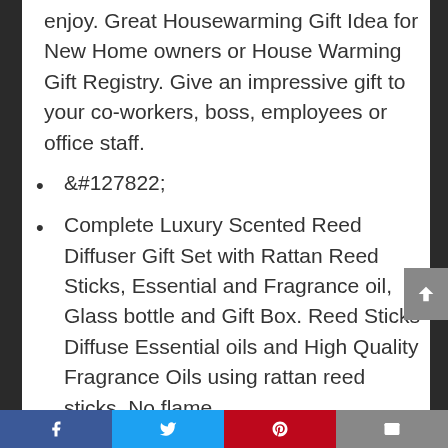enjoy. Great Housewarming Gift Idea for New Home owners or House Warming Gift Registry. Give an impressive gift to your co-workers, boss, employees or office staff.
&#127822;
Complete Luxury Scented Reed Diffuser Gift Set with Rattan Reed Sticks, Essential and Fragrance oil, Glass bottle and Gift Box. Reed Sticks Diffuse Essential oils and High Quality Fragrance Oils using rattan reed sticks. No flame
[Facebook] [Twitter] [Pinterest] [Email]